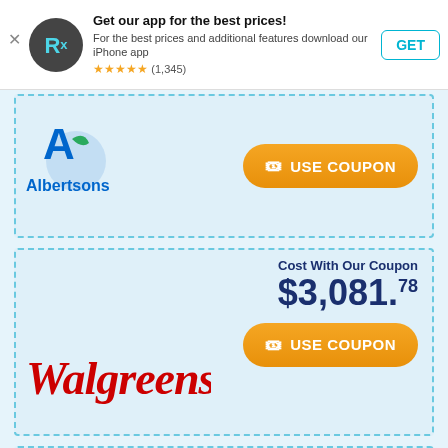[Figure (screenshot): App download banner: Rx icon logo, text 'Get our app for the best prices! For the best prices and additional features download our iPhone app', 5-star rating (1,345), GET button]
[Figure (logo): Albertsons logo with blue 'A' leaf icon and blue text]
USE COUPON (Albertsons)
Cost With Our Coupon $3,081.78
[Figure (logo): Walgreens cursive red logo]
USE COUPON (Walgreens)
Cost With Our Coupon $3,103.07
[Figure (logo): Walmart blue text logo with yellow spark/asterisk icon]
USE COUPON (Walmart)